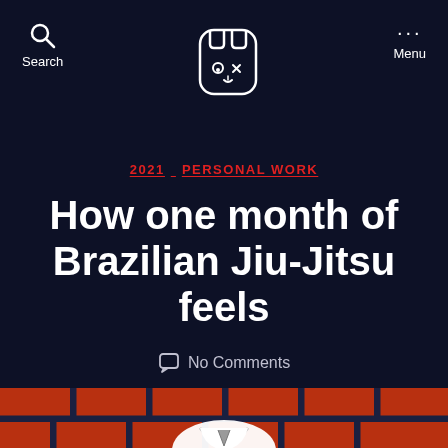Search | [Logo] | Menu
2021  PERSONAL WORK
How one month of Brazilian Jiu-Jitsu feels
No Comments
[Figure (illustration): Bottom portion of an illustration showing a figure in a white BJJ gi/kimono against a red brick-patterned background with dark blue grid lines]